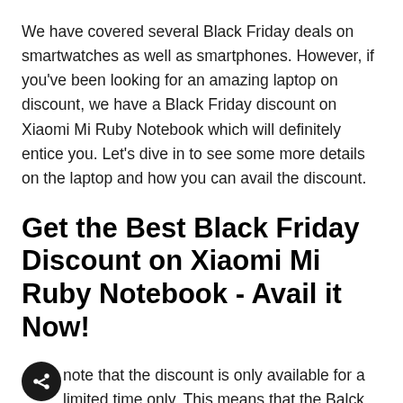We have covered several Black Friday deals on smartwatches as well as smartphones. However, if you've been looking for an amazing laptop on discount, we have a Black Friday discount on Xiaomi Mi Ruby Notebook which will definitely entice you. Let's dive in to see some more details on the laptop and how you can avail the discount.
Get the Best Black Friday Discount on Xiaomi Mi Ruby Notebook - Avail it Now!
Please note that the discount is only available for a limited time only. This means that the Balck Friday discount on the Xiaomi Mi Ruby Notebook will revert to its original model soon. henceforth, order your share as